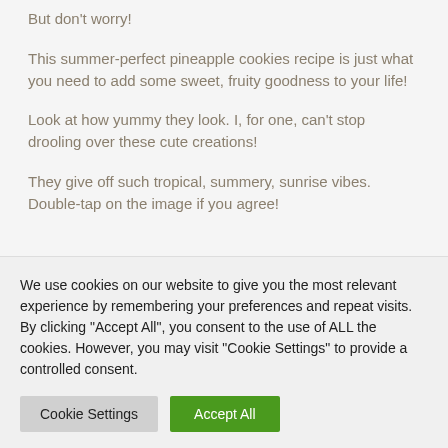But don't worry!
This summer-perfect pineapple cookies recipe is just what you need to add some sweet, fruity goodness to your life!
Look at how yummy they look. I, for one, can't stop drooling over these cute creations!
They give off such tropical, summery, sunrise vibes. Double-tap on the image if you agree!
We use cookies on our website to give you the most relevant experience by remembering your preferences and repeat visits. By clicking "Accept All", you consent to the use of ALL the cookies. However, you may visit "Cookie Settings" to provide a controlled consent.